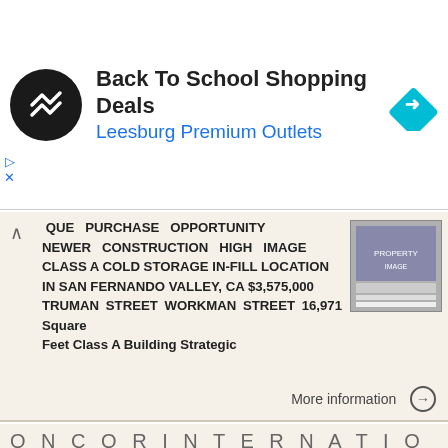[Figure (screenshot): Advertisement banner: Back To School Shopping Deals at Leesburg Premium Outlets with logo icon and navigation arrow icon]
UNIQUE PURCHASE OPPORTUNITY NEWER CONSTRUCTION HIGH IMAGE CLASS A COLD STORAGE IN-FILL LOCATION IN SAN FERNANDO VALLEY, CA $3,575,000 TRUMAN STREET WORKMAN STREET 16,971 Square Feet Class A Building Strategic
More information →
O N C O R I N T E R N A T I O N A L
SPOTLIGHT ON FIVE INVESTMENT SALES LARGE INDUSTRIAL, RESIDENTIAL, OFFICE & RETAIL PROPERTIES SOLD PAGE 2 PAGE 3 5 DAUM Commercial Real Estate Services Since 1904 INVESTMENT SERVICES Group Addressing the